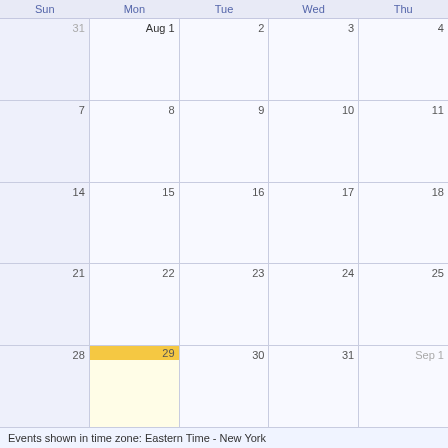| Sun | Mon | Tue | Wed | Thu |
| --- | --- | --- | --- | --- |
| 31 | Aug 1 | 2 | 3 | 4 |
| 7 | 8 | 9 | 10 | 11 |
| 14 | 15 | 16 | 17 | 18 |
| 21 | 22 | 23 | 24 | 25 |
| 28 | 29 [highlighted] | 30 | 31 | Sep 1 |
Events shown in time zone: Eastern Time - New York